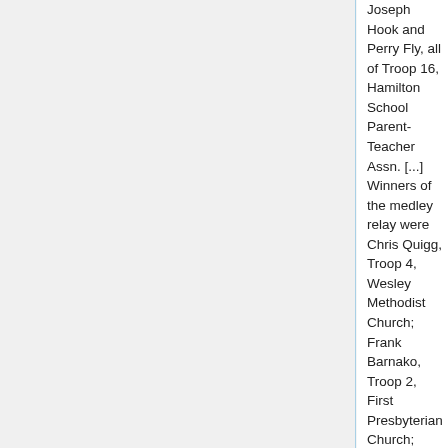Joseph Hook and Perry Fly, all of Troop 16, Hamilton School Parent-Teacher Assn. [...] Winners of the medley relay were Chris Quigg, Troop 4, Wesley Methodist Church; Frank Barnako, Troop 2, First Presbyterian Church; Hugh Temos, Troop 16, and Lester Kemmerer, Troop 53. Other boating events included a canoe race, won by Hugh Temos, Troop 16, and Robert Lindenmuth, Troop 53, and a lifeboat rescue, won by Robert Myers, Troop 29, ana John